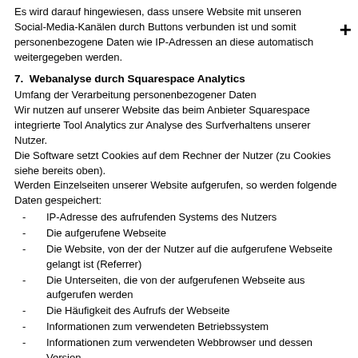Es wird darauf hingewiesen, dass unsere Website mit unseren Social-Media-Kanälen durch Buttons verbunden ist und somit personenbezogene Daten wie IP-Adressen an diese automatisch weitergegeben werden.
7.  Webanalyse durch Squarespace Analytics
Umfang der Verarbeitung personenbezogener Daten
Wir nutzen auf unserer Website das beim Anbieter Squarespace integrierte Tool Analytics zur Analyse des Surfverhaltens unserer Nutzer.
Die Software setzt Cookies auf dem Rechner der Nutzer (zu Cookies siehe bereits oben).
Werden Einzelseiten unserer Website aufgerufen, so werden folgende Daten gespeichert:
IP-Adresse des aufrufenden Systems des Nutzers
Die aufgerufene Webseite
Die Website, von der der Nutzer auf die aufgerufene Webseite gelangt ist (Referrer)
Die Unterseiten, die von der aufgerufenen Webseite aus aufgerufen werden
Die Häufigkeit des Aufrufs der Webseite
Informationen zum verwendeten Betriebssystem
Informationen zum verwendeten Webbrowser und dessen Version
technische Informationen zum verwendeten Endgerät (u.a.